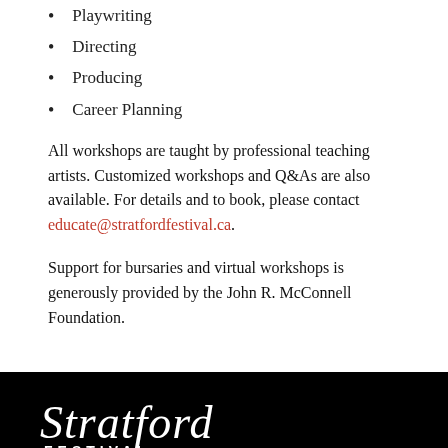Playwriting
Directing
Producing
Career Planning
All workshops are taught by professional teaching artists. Customized workshops and Q&As are also available. For details and to book, please contact educate@stratfordfestival.ca.
Support for bursaries and virtual workshops is generously provided by the John R. McConnell Foundation.
[Figure (logo): Stratford Festival logo in white on black background, with cursive 'Stratford' and bold 'FESTIVAL' text]
QUICK LINKS
What's On
Stratfest@Home
Visit